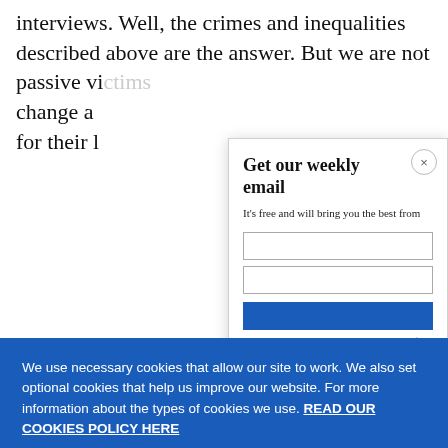interviews. Well, the crimes and inequalities described above are the answer. But we are not passive vi[ctims — we have always struggled for] change a[nd] for their [rights]
[Figure (screenshot): Email subscription modal popup with title 'Get our weekly email', subtitle 'It’s free and will bring you the best from', input fields, and a blue subscribe button. Has an X close button in top-right corner.]
[Figure (screenshot): Cookie consent banner with blue background. Text reads: 'We use necessary cookies that allow our site to work. We also set optional cookies that help us improve our website. For more information about the types of cookies we use. READ OUR COOKIES POLICY HERE'. Two buttons: COOKIE SETTINGS and ALLOW ALL COOKIES.]
data.
[Figure (photo): Small partial image at bottom left, appears to show a person, reddish tones.]